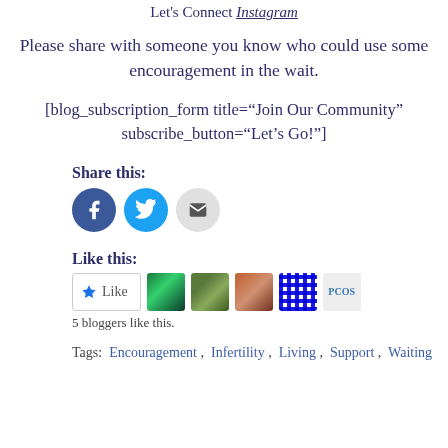Let's Connect Instagram
Please share with someone you know who could use some encouragement in the wait.
[blog_subscription_form title="Join Our Community" subscribe_button="Let's Go!"]
Share this:
[Figure (infographic): Three circular social share buttons: Facebook (blue), Twitter (light blue), Email (grey)]
Like this:
[Figure (infographic): WordPress Like button and 5 blogger avatar thumbnails]
5 bloggers like this.
Tags:  Encouragement ,  Infertility ,  Living ,  Support ,  Waiting